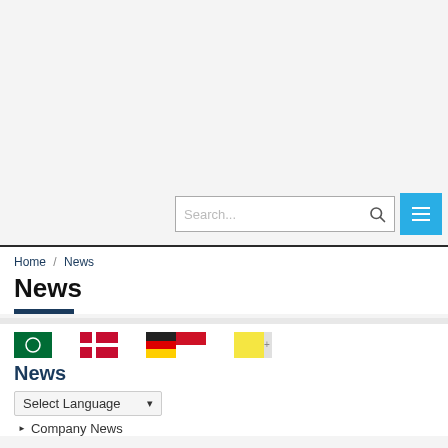[Figure (screenshot): Website header area with search bar and hamburger menu button on a light gray background]
Home / News
News
[Figure (infographic): Four flag icons in a row: Saudi Arabia (green with circle), Denmark (red with white cross), Germany+Indonesia combined flag, and a yellow flag with plus icon]
News
Select Language
Company News